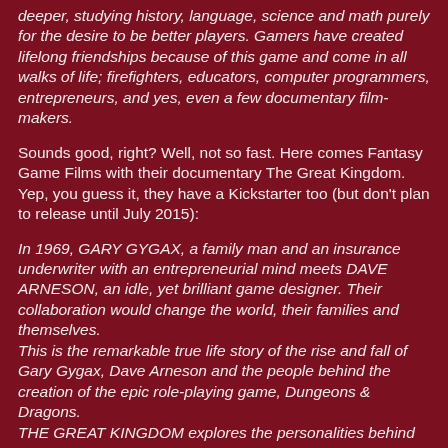deeper, studying history, language, science and math purely for the desire to be better players. Gamers have created lifelong friendships because of this game and come in all walks of life; firefighters, educators, computer programmers, entrepreneurs, and yes, even a few documentary film-makers.
Sounds good, right? Well, not so fast. Here comes Fantasy Game Films with their documentary The Great Kingdom. Yep, you guess it, they have a Kickstarter too (but don't plan to release until July 2015):
In 1969, GARY GYGAX, a family man and an insurance underwriter with an entrepreneurial mind meets DAVE ARNESON, an idle, yet brilliant game designer. Their collaboration would change the world, their families and themselves.
This is the remarkable true life story of the rise and fall of Gary Gygax, Dave Arneson and the people behind the creation of the epic role-playing game, Dungeons & Dragons.
THE GREAT KINGDOM explores the personalities behind